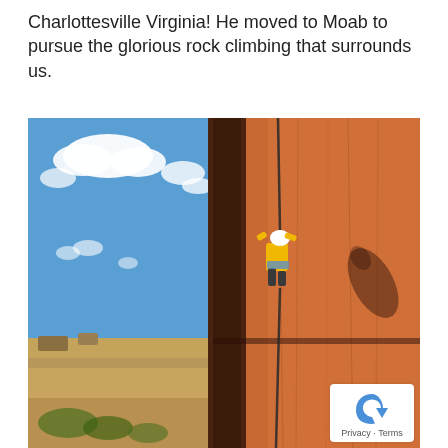Charlottesville Virginia! He moved to Moab to pursue the glorious rock climbing that surrounds us.
[Figure (photo): A rock climber in a yellow jacket and white helmet scaling a steep red sandstone wall in what appears to be Moab, Utah. The left side of the image shows blue sky with white clouds and a desert landscape far below. A rope hangs from the climber. A privacy/reCAPTCHA badge is visible in the lower right corner.]